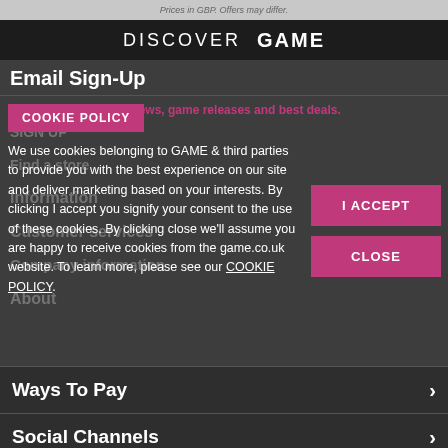Prices in GBP. Offers may differ.
DISCOVER GAME
Email Sign-Up
COOKIE POLICY
We use cookies belonging to GAME & third parties to provide you with the best experience on our site and deliver marketing based on your interests. By clicking I accept you signify your consent to the use of these cookies. By clicking close we'll assume you are happy to receive cookies from the game.co.uk website. To learn more, please see our COOKIE POLICY.
I ACCEPT
CLOSE
Ways To Pay
Social Channels